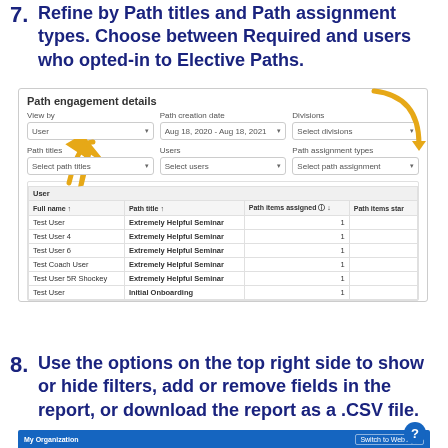7. Refine by Path titles and Path assignment types. Choose between Required and users who opted-in to Elective Paths.
[Figure (screenshot): Screenshot of Path engagement details filter panel with View by, Path creation date, Divisions, Path titles, Users, and Path assignment types dropdowns, plus a data table showing users and their path assignments. Two orange arrows point to 'Path titles' and 'Path assignment types' filter areas.]
8. Use the options on the top right side to show or hide filters, add or remove fields in the report, or download the report as a .CSV file.